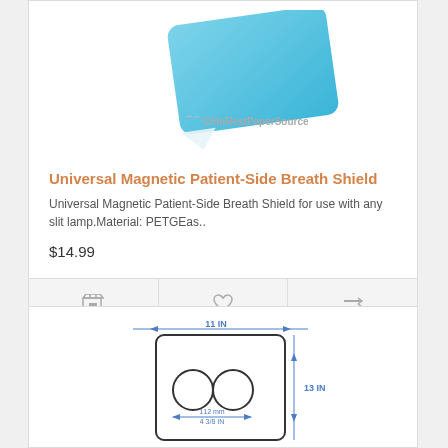[Figure (photo): Blue magnetic breath shield product image with ChinRestPaperSource watermark logo]
Universal Magnetic Patient-Side Breath Shield
Universal Magnetic Patient-Side Breath Shield for use with any slit lamp.Material: PETGEas..
$14.99
[Figure (engineering-diagram): Technical diagram of chin rest paper showing dimensions: 11 IN width, 13 IN height, with two circular holes of 112 mm / 4 3/8 IN diameter]